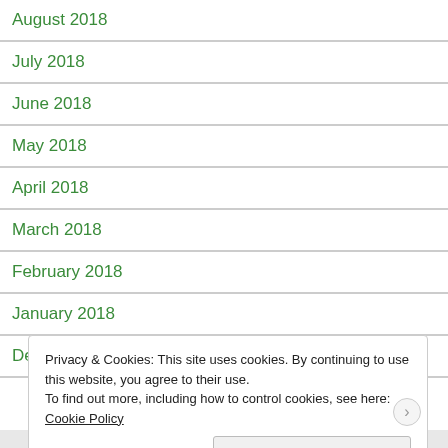August 2018
July 2018
June 2018
May 2018
April 2018
March 2018
February 2018
January 2018
December 2017
Privacy & Cookies: This site uses cookies. By continuing to use this website, you agree to their use. To find out more, including how to control cookies, see here: Cookie Policy
Close and accept